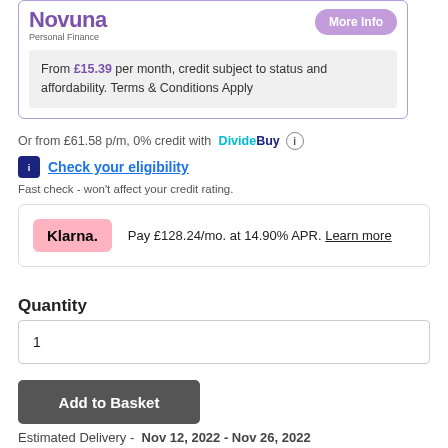[Figure (logo): Novuna Personal Finance logo with More Info button]
From £15.39 per month, credit subject to status and affordability. Terms & Conditions Apply
Or from £61.58 p/m, 0% credit with DivideBuy ℹ
Check your eligibility
Fast check - won't affect your credit rating.
Klarna. Pay £128.24/mo. at 14.90% APR. Learn more
Quantity
1
Add to Basket
Estimated Delivery -  Nov 12, 2022 - Nov 26, 2022